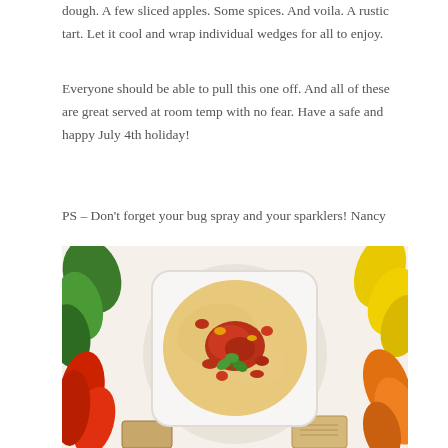dough. A few sliced apples. Some spices. And voila. A rustic tart. Let it cool and wrap individual wedges for all to enjoy.
Everyone should be able to pull this one off. And all of these are great served at room temp with no fear. Have a safe and happy July 4th holiday!
PS – Don't forget your bug spray and your sparklers! Nancy
[Figure (photo): A white square bowl filled with creamy dip topped with tomato salsa and a sprig of mint, surrounded by colorful sliced bell peppers (green, red, yellow, orange) and crackers on a white surface.]